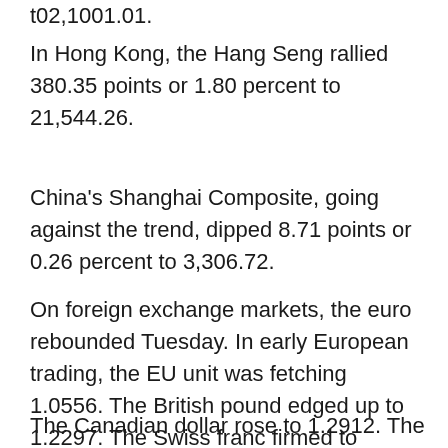t02,1001.01.
In Hong Kong, the Hang Seng rallied 380.35 points or 1.80 percent to 21,544.26.
China's Shanghai Composite, going against the trend, dipped 8.71 points or 0.26 percent to 3,306.72.
On foreign exchange markets, the euro rebounded Tuesday. In early European trading, the EU unit was fetching 1.0556. The British pound edged up to 1.2297. The Swiss franc firmed to 0.9642.
The Canadian dollar rose to 1.2912. The